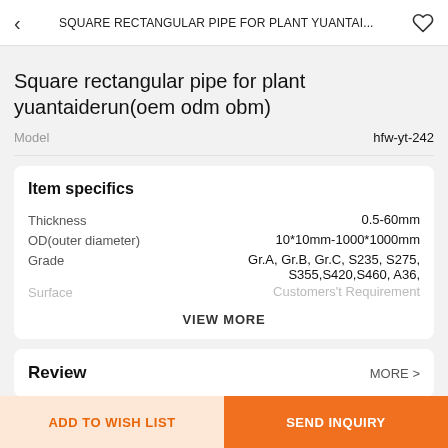SQUARE RECTANGULAR PIPE FOR PLANT YUANTAI...
Square rectangular pipe for plant yuantaiderun(oem odm obm)
Model   hfw-yt-242
Item specifics
| Property | Value |
| --- | --- |
| Thickness | 0.5-60mm |
| OD(outer diameter) | 10*10mm-1000*1000mm |
| Grade | Gr.A, Gr.B, Gr.C, S235, S275, S355,S420,S460, A36, |
| Surface | Customers't Requirement |
VIEW MORE
Review
MORE >
ADD TO WISH LIST
SEND INQUIRY